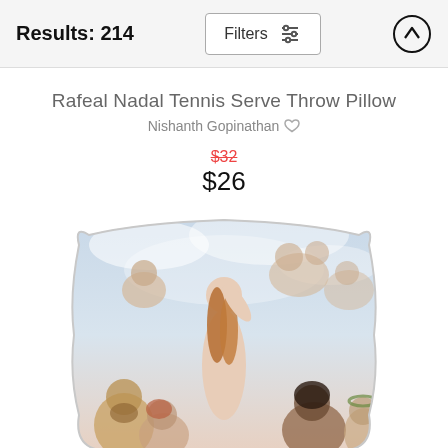Results: 214
Rafeal Nadal Tennis Serve Throw Pillow
Nishanth Gopinathan ♡
$32 (strikethrough) $26
[Figure (photo): Throw pillow featuring a classical painting of Venus and cherubs/putti in a Renaissance-style composition. Central nude female figure with long auburn hair surrounded by cherubs above and figures below.]